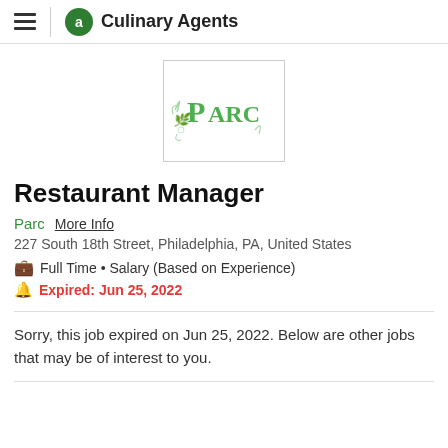a Culinary Agents
[Figure (logo): Parc restaurant logo with decorative green text on white background inside a bordered box]
Restaurant Manager
Parc   More Info
227 South 18th Street, Philadelphia, PA, United States
Full Time • Salary (Based on Experience)
Expired: Jun 25, 2022
Sorry, this job expired on Jun 25, 2022. Below are other jobs that may be of interest to you.